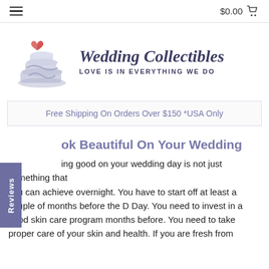$0.00
[Figure (logo): Wedding Collectibles logo with wedding cake and heart icon, tagline: LOVE IS IN EVERYTHING WE DO]
Free Shipping On Orders Over $150 *USA Only
Look Beautiful On Your Wedding
Looking good on your wedding day is not just something that you can achieve overnight. You have to start off at least a couple of months before the D Day. You need to invest in a good skin care program months before. You need to take proper care of your skin and health. If you are fresh from